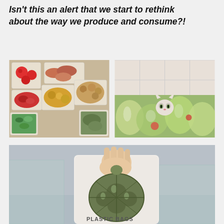Isn't this an alert that we start to rethink about the way we produce and consume?!
[Figure (photo): Overhead view of various food items in plastic packaging and trays]
[Figure (photo): Cat sitting among many plastic shopping bags filled with groceries]
[Figure (photo): Hand holding a white reusable bag with a sea turtle design. Text at bottom reads PLASTIC BAGS]